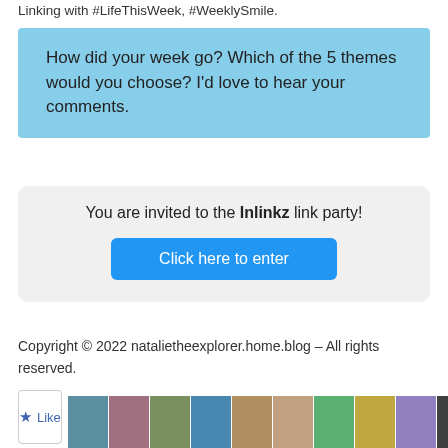Linking with #LifeThisWeek, #WeeklySmile.
How did your week go? Which of the 5 themes would you choose? I'd love to hear your comments.
You are invited to the Inlinkz link party!
Click here to enter
Copyright © 2022 natalietheexplorer.home.blog – All rights reserved.
[Figure (other): Like button and row of avatar/profile photos at the bottom of the page]